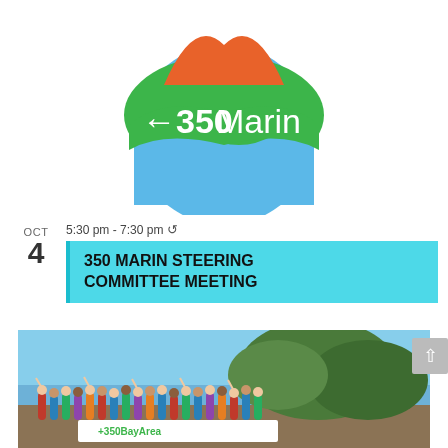[Figure (logo): 350 Marin logo with orange mountain top, green hill with '←350 Marin' text, and blue circular base]
OCT
4   5:30 pm - 7:30 pm ↺
350 MARIN STEERING COMMITTEE MEETING
[Figure (photo): Group photo of 350 Bay Area members outdoors near waterfront with trees behind them, holding a '350BayArea' banner, many wearing masks and raising fists]